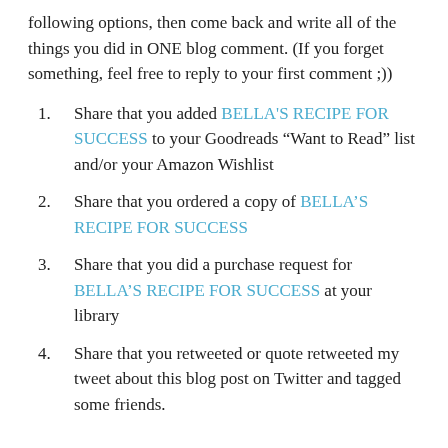following options, then come back and write all of the things you did in ONE blog comment. (If you forget something, feel free to reply to your first comment ;))
Share that you added BELLA'S RECIPE FOR SUCCESS to your Goodreads “Want to Read” list and/or your Amazon Wishlist
Share that you ordered a copy of BELLA’S RECIPE FOR SUCCESS
Share that you did a purchase request for BELLA’S RECIPE FOR SUCCESS at your library
Share that you retweeted or quote retweeted my tweet about this blog post on Twitter and tagged some friends.